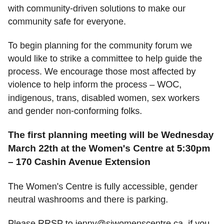with community-driven solutions to make our community safe for everyone.
To begin planning for the community forum we would like to strike a committee to help guide the process. We encourage those most affected by violence to help inform the process – WOC, indigenous, trans, disabled women, sex workers and gender non-conforming folks.
The first planning meeting will be Wednesday March 22th at the Women's Centre at 5:30pm – 170 Cashin Avenue Extension
The Women's Centre is fully accessible, gender neutral washrooms and there is parking.
Please RRSP to jenny@sjwomenscentre.ca  if you want